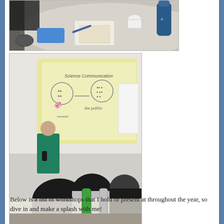[Figure (photo): Photo of a round table with papers, a phone, and a blue water bottle, taken from above with a person partially visible]
[Figure (photo): Photo of a presenter in a teal shirt standing in front of a projected screen showing a science communication diagram, with audience members viewed from behind]
Below is a list of workshops that I hold or present at throughout the year, so dive in and make a splash with me!